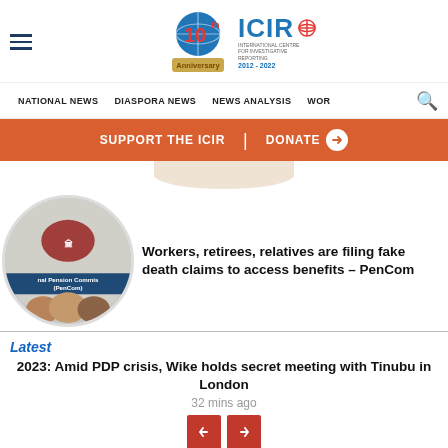ICIR 10th Anniversary 2012-2022 — Navigation: NATIONAL NEWS | DIASPORA NEWS | NEWS ANALYSIS | WOR
SUPPORT THE ICIR | DONATE
[Figure (photo): Circular image of the National Pension Commission (PenCom) logo and people]
Workers, retirees, relatives are filing fake death claims to access benefits – PenCom
Latest
2023: Amid PDP crisis, Wike holds secret meeting with Tinubu in London
32 mins ago